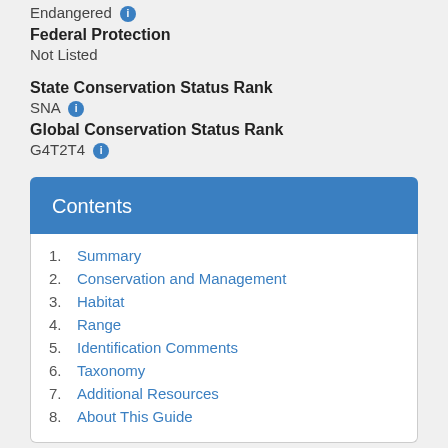Endangered
Federal Protection
Not Listed
State Conservation Status Rank
SNA
Global Conservation Status Rank
G4T2T4
Contents
1. Summary
2. Conservation and Management
3. Habitat
4. Range
5. Identification Comments
6. Taxonomy
7. Additional Resources
8. About This Guide